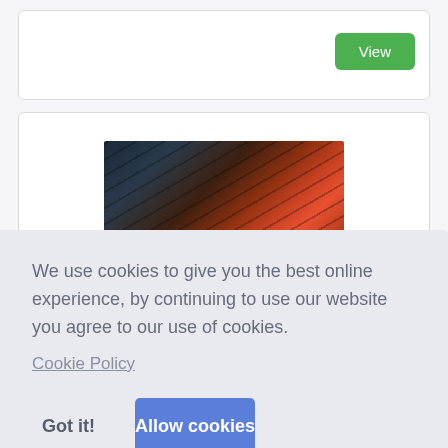[Figure (screenshot): Top card section with a green 'View' button on the right side]
[Figure (photo): Product image showing items on a conveyor belt with orange/red coloring against dark background]
We use cookies to give you the best online experience, by continuing to use our website you agree to our use of cookies.
Cookie Policy
Got it!
Allow cookies